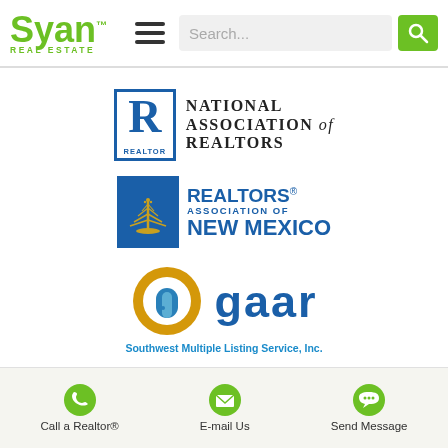[Figure (logo): Syan Real Estate logo with green text, hamburger menu icon, search bar, and green search button]
[Figure (logo): National Association of Realtors logo — blue R in a box with REALTOR text below, next to 'NATIONAL ASSOCIATION of REALTORS' text]
[Figure (logo): Realtors Association of New Mexico logo — blue square with yucca plant, next to 'REALTORS ASSOCIATION OF NEW MEXICO' text]
[Figure (logo): GAAR logo — gold ring with blue door icon, 'gaar' text, and 'Southwest Multiple Listing Service, Inc.' below]
[Figure (logo): Footer with three action buttons: phone icon 'Call a Realtor®', envelope icon 'E-mail Us', messenger icon 'Send Message']